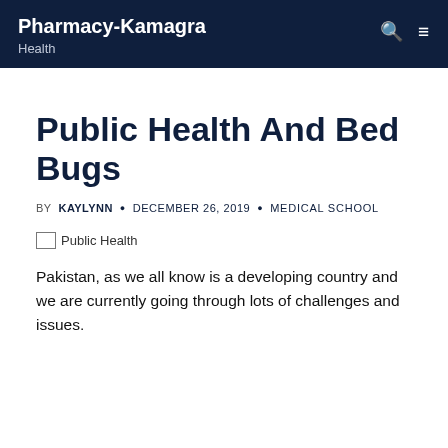Pharmacy-Kamagra Health
Public Health And Bed Bugs
BY KAYLYNN • DECEMBER 26, 2019 • MEDICAL SCHOOL
[Figure (photo): Broken image placeholder labeled 'Public Health']
Pakistan, as we all know is a developing country and we are currently going through lots of challenges and issues.